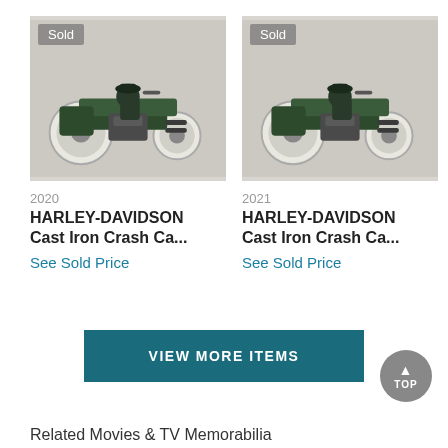[Figure (photo): Photo of a dark green cast iron Harley-Davidson crash car toy with rider figure, showing 'Sold' badge in top left corner]
[Figure (photo): Photo of a dark green cast iron Harley-Davidson crash car toy with rider figure, showing 'Sold' badge in top left corner]
2020
HARLEY-DAVIDSON Cast Iron Crash Ca...
See Sold Price
2021
HARLEY-DAVIDSON Cast Iron Crash Ca...
See Sold Price
VIEW MORE ITEMS
Related Movies & TV Memorabilia